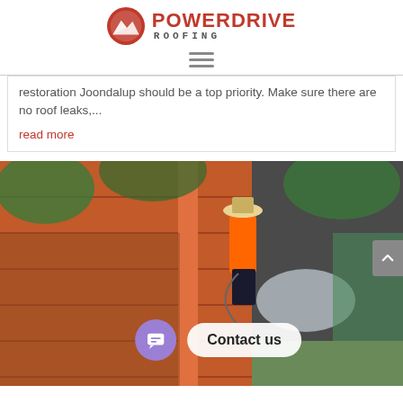[Figure (logo): PowerDrive Roofing logo — red circular icon with mountain silhouette, POWERDRIVE in red bold uppercase, ROOFING in grey monospace below]
≡
restoration Joondalup should be a top priority. Make sure there are no roof leaks,...
read more
[Figure (photo): Worker in hi-vis vest and hat pressure-washing an orange terracotta tile roof ridge, surrounded by green trees and other rooftops in background. Contact us button and chat bubble overlay at bottom.]